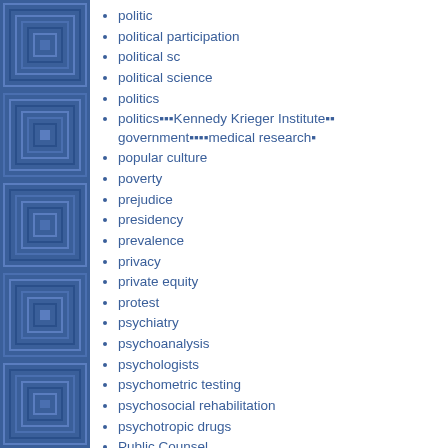[Figure (illustration): Blue decorative sidebar with nested rectangle maze/grid pattern in varying shades of blue]
politic
political participation
political sc
political science
politics
politics▪Kennedy Krieger Institute▪ government▪medical research▪
popular culture
poverty
prejudice
presidency
prevalence
privacy
private equity
protest
psychiatry
psychoanalysis
psychologists
psychometric testing
psychosocial rehabilitation
psychotropic drugs
Public Counsel
public health